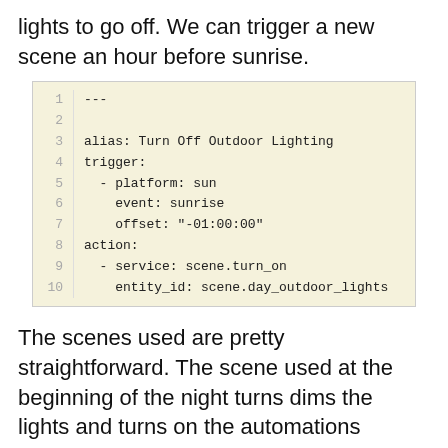lights to go off. We can trigger a new scene an hour before sunrise.
[Figure (screenshot): Code block with line numbers 1-10 showing YAML automation config: alias: Turn Off Outdoor Lighting, trigger platform sun event sunrise offset -01:00:00, action service scene.turn_on entity_id scene.day_outdoor_lights]
The scenes used are pretty straightforward. The scene used at the beginning of the night turns dims the lights and turns on the automations needed throughout out the night.
[Figure (screenshot): Code block with line numbers 1-3 (partial), showing YAML starting with --- and name: Night Outdoor Lights]